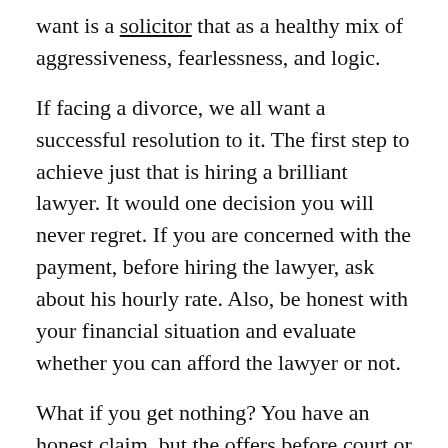want is a solicitor that as a healthy mix of aggressiveness, fearlessness, and logic.
If facing a divorce, we all want a successful resolution to it. The first step to achieve just that is hiring a brilliant lawyer. It would one decision you will never regret. If you are concerned with the payment, before hiring the lawyer, ask about his hourly rate. Also, be honest with your financial situation and evaluate whether you can afford the lawyer or not.
What if you get nothing? You have an honest claim, but the offers before court or lack of offers before court lead you to trial. Then, a judge decides you do not deserve damages. You may think it's over; you lost. However, if you hire a good lawyer, he or she can take this to appeals court, where, if the laws were not interpreted correctly, you have a second chance to be compensated.